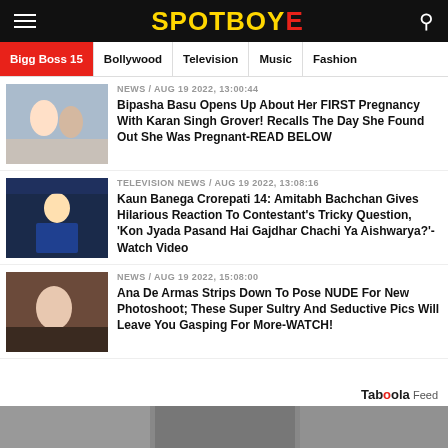SPOTBOYE
Bigg Boss 15 | Bollywood | Television | Music | Fashion
NEWS / Aug 19 2022, 13:00:44
Bipasha Basu Opens Up About Her FIRST Pregnancy With Karan Singh Grover! Recalls The Day She Found Out She Was Pregnant-READ BELOW
TELEVISION NEWS / Aug 19 2022, 13:08:16
Kaun Banega Crorepati 14: Amitabh Bachchan Gives Hilarious Reaction To Contestant's Tricky Question, 'Kon Jyada Pasand Hai Gajdhar Chachi Ya Aishwarya?'- Watch Video
NEWS / Aug 19 2022, 15:08:00
Ana De Armas Strips Down To Pose NUDE For New Photoshoot; These Super Sultry And Seductive Pics Will Leave You Gasping For More-WATCH!
Taboola Feed